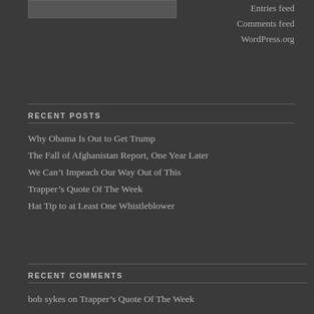[Figure (other): Image placeholder/thumbnail at top left]
Entries feed
Comments feed
WordPress.org
RECENT POSTS
Why Obama Is Out to Get Trump
The Fall of Afghanistan Report, One Year Later
We Can’t Impeach Our Way Out of This
Trapper’s Quote Of The Week
Hat Tip to at Least One Whistleblower
RECENT COMMENTS
bob sykes on Trapper’s Quote Of The Week